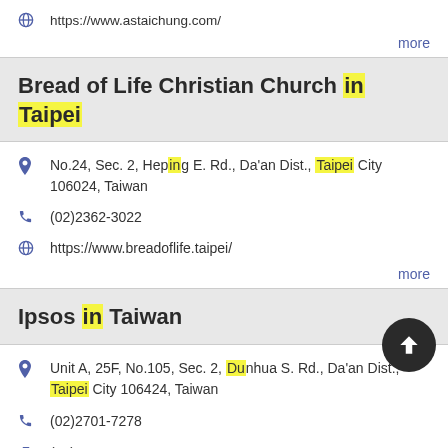https://www.astaichung.com/
more
Bread of Life Christian Church in Taipei
No.24, Sec. 2, Heping E. Rd., Da'an Dist., Taipei City 106024, Taiwan
(02)2362-3022
https://www.breadoflife.taipei/
more
Ipsos in Taiwan
Unit A, 25F, No.105, Sec. 2, Dunhua S. Rd., Da'an Dist., Taipei City 106424, Taiwan
(02)2701-7278
(02)2705-2734